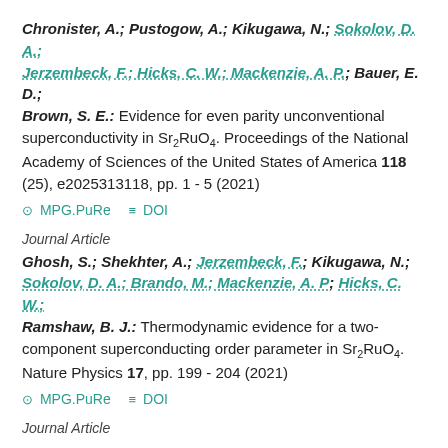Chronister, A.; Pustogow, A.; Kikugawa, N.; Sokolov, D. A.; Jerzembeck, F.; Hicks, C. W.; Mackenzie, A. P.; Bauer, E. D.; Brown, S. E.: Evidence for even parity unconventional superconductivity in Sr2RuO4. Proceedings of the National Academy of Sciences of the United States of America 118 (25), e2025313118, pp. 1 - 5 (2021)
MPG.PuRe  DOI
Journal Article
Ghosh, S.; Shekhter, A.; Jerzembeck, F.; Kikugawa, N.; Sokolov, D. A.; Brando, M.; Mackenzie, A. P; Hicks, C. W.; Ramshaw, B. J.: Thermodynamic evidence for a two-component superconducting order parameter in Sr2RuO4. Nature Physics 17, pp. 199 - 204 (2021)
MPG.PuRe  DOI
Journal Article